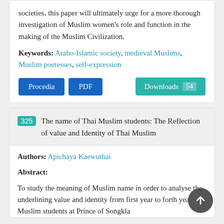societies, this paper will ultimately urge for a more thorough investigation of Muslim women's role and function in the making of the Muslim Civilization.
Keywords: Arabo-Islamic society, medieval Muslims, Muslim poetesses, self-expression
Procedia  PDF  Downloads 54
325 The name of Thai Muslim students: The Reflection of value and Identity of Thai Muslim
Authors: Apichaya Kaewuthai
Abstract:
To study the meaning of Muslim name in order to analyse the underlining value and identity from first year to forth year Muslim students at Prince of Songkla